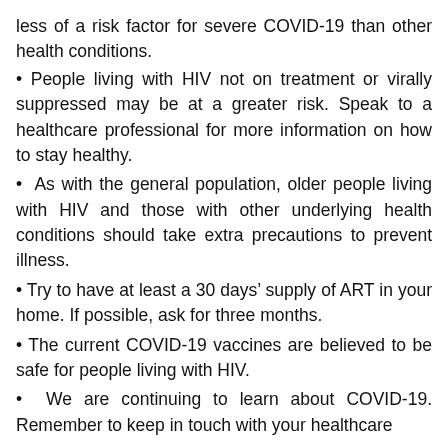less of a risk factor for severe COVID-19 than other health conditions.
People living with HIV not on treatment or virally suppressed may be at a greater risk. Speak to a healthcare professional for more information on how to stay healthy.
As with the general population, older people living with HIV and those with other underlying health conditions should take extra precautions to prevent illness.
Try to have at least a 30 days' supply of ART in your home. If possible, ask for three months.
The current COVID-19 vaccines are believed to be safe for people living with HIV.
We are continuing to learn about COVID-19. Remember to keep in touch with your healthcare